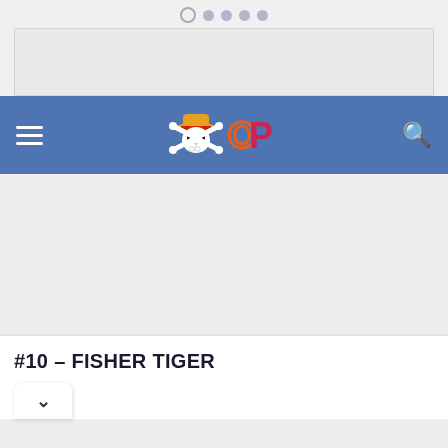[Figure (screenshot): Mobile app navigation dots indicator at top, showing first dot as outlined (active) and four filled dots]
[Figure (other): Advertisement banner placeholder — light gray rectangle]
[Figure (screenshot): Blue navigation bar with hamburger menu icon on left, One Piece fan site skull logo and OP text logo in center, magnifying glass search icon on right]
[Figure (other): Gray content area placeholder]
#10 – FISHER TIGER
[Figure (other): White rounded chevron/dropdown button with downward arrow]